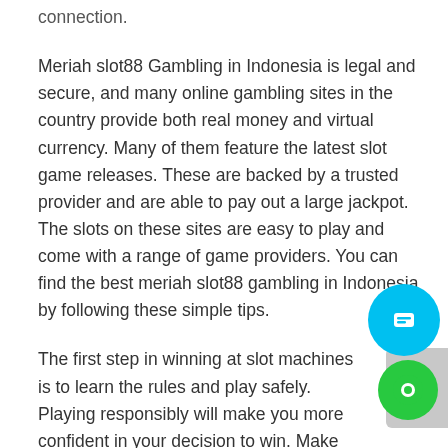connection.
Meriah slot88 Gambling in Indonesia is legal and secure, and many online gambling sites in the country provide both real money and virtual currency. Many of them feature the latest slot game releases. These are backed by a trusted provider and are able to pay out a large jackpot. The slots on these sites are easy to play and come with a range of game providers. You can find the best meriah slot88 gambling in Indonesia by following these simple tips.
The first step in winning at slot machines is to learn the rules and play safely. Playing responsibly will make you more confident in your decision to win. Make sure you choose a site with a fair reputation, and don't forget to check for scams. The better the site, the higher the chances of winning a jackpot. However, if you lose, might lose all of your money.
Meriah slot88 gambling in Indonesia is a relatively new